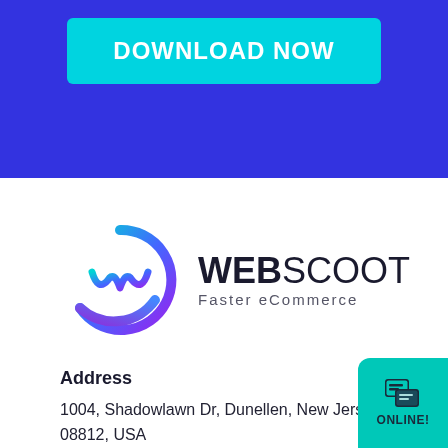DOWNLOAD NOW
[Figure (logo): WebScoot logo — circular swirling W mark in cyan-to-purple gradient with WEBSCOOT Faster eCommerce text]
Address
1004, Shadowlawn Dr, Dunellen, New Jersey 08812, USA
Contact
IN: +01 7272 002 002
[Figure (infographic): ONLINE! chat widget button in teal/cyan color at bottom right corner]